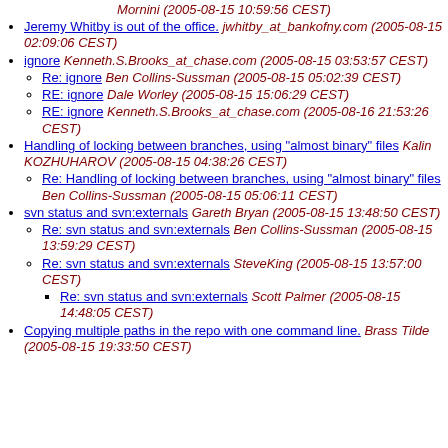Mornini (2005-08-15 10:59:56 CEST)
Jeremy Whitby is out of the office. jwhitby_at_bankofny.com (2005-08-15 02:09:06 CEST)
ignore Kenneth.S.Brooks_at_chase.com (2005-08-15 03:53:57 CEST)
Re: ignore Ben Collins-Sussman (2005-08-15 05:02:39 CEST)
RE: ignore Dale Worley (2005-08-15 15:06:29 CEST)
RE: ignore Kenneth.S.Brooks_at_chase.com (2005-08-16 21:53:26 CEST)
Handling of locking between branches, using "almost binary" files Kalin KOZHUHAROV (2005-08-15 04:38:26 CEST)
Re: Handling of locking between branches, using "almost binary" files Ben Collins-Sussman (2005-08-15 05:06:11 CEST)
svn status and svn:externals Gareth Bryan (2005-08-15 13:48:50 CEST)
Re: svn status and svn:externals Ben Collins-Sussman (2005-08-15 13:59:29 CEST)
Re: svn status and svn:externals SteveKing (2005-08-15 13:57:00 CEST)
Re: svn status and svn:externals Scott Palmer (2005-08-15 14:48:05 CEST)
Copying multiple paths in the repo with one command line. Brass Tilde (2005-08-15 19:33:50 CEST)